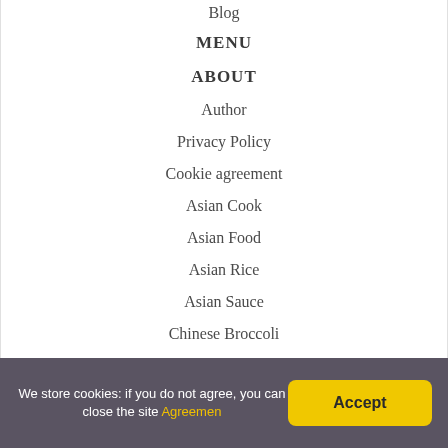Blog
MENU
ABOUT
Author
Privacy Policy
Cookie agreement
Asian Cook
Asian Food
Asian Rice
Asian Sauce
Chinese Broccoli
Chinese Rice
We store cookies: if you do not agree, you can close the site Agreemen